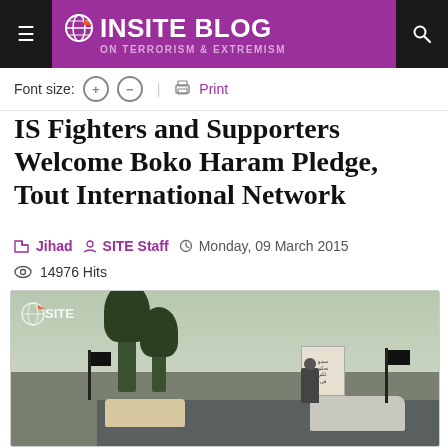INSITE BLOG ON TERRORISM & EXTREMISM
Font size: + − Print
IS Fighters and Supporters Welcome Boko Haram Pledge, Tout International Network
Jihad   SITE Staff   Monday, 09 March 2015
14976 Hits
[Figure (photo): Vehicles in a street scene with people holding black flags and a white banner with Arabic text, SITE Intelligence watermark visible]